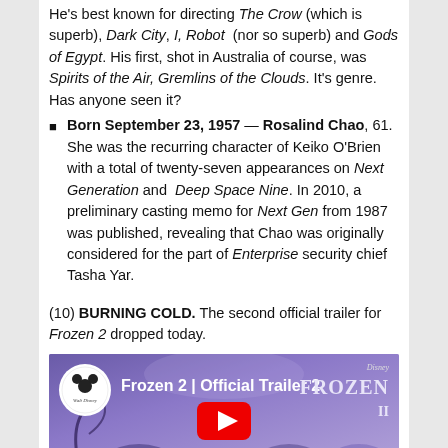He's best known for directing The Crow (which is superb), Dark City, I, Robot (nor so superb) and Gods of Egypt. His first, shot in Australia of course, was Spirits of the Air, Gremlins of the Clouds. It's genre. Has anyone seen it?
Born September 23, 1957 — Rosalind Chao, 61. She was the recurring character of Keiko O'Brien with a total of twenty-seven appearances on Next Generation and Deep Space Nine. In 2010, a preliminary casting memo for Next Gen from 1987 was published, revealing that Chao was originally considered for the part of Enterprise security chief Tasha Yar.
(10) BURNING COLD. The second official trailer for Frozen 2 dropped today.
[Figure (screenshot): YouTube video thumbnail for 'Frozen 2 | Official Trailer 2' with Walt Disney logo circle, purple/blue animated characters background, and play button.]